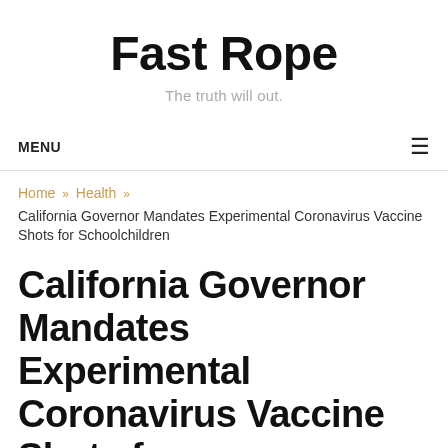Fast Rope
The truth will out.
MENU ≡
Home » Health » California Governor Mandates Experimental Coronavirus Vaccine Shots for Schoolchildren
California Governor Mandates Experimental Coronavirus Vaccine Shots for Schoolchildren